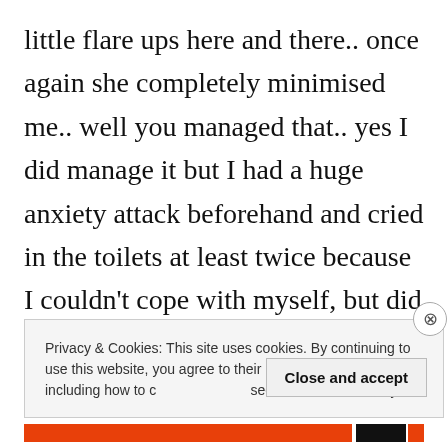little flare ups here and there.. once again she completely minimised me.. well you managed that.. yes I did manage it but I had a huge anxiety attack beforehand and cried in the toilets at least twice because I couldn't cope with myself, but did she ask me any of that? No did she hell.
Privacy & Cookies: This site uses cookies. By continuing to use this website, you agree to their use. To find out more, including how to control cookies, see here: Cookie Policy